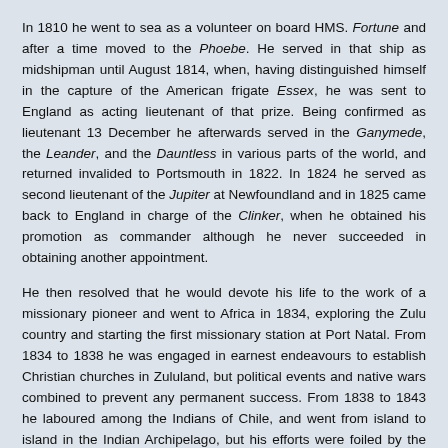In 1810 he went to sea as a volunteer on board HMS. Fortune and after a time moved to the Phoebe. He served in that ship as midshipman until August 1814, when, having distinguished himself in the capture of the American frigate Essex, he was sent to England as acting lieutenant of that prize. Being confirmed as lieutenant 13 December he afterwards served in the Ganymede, the Leander, and the Dauntless in various parts of the world, and returned invalided to Portsmouth in 1822. In 1824 he served as second lieutenant of the Jupiter at Newfoundland and in 1825 came back to England in charge of the Clinker, when he obtained his promotion as commander although he never succeeded in obtaining another appointment.
He then resolved that he would devote his life to the work of a missionary pioneer and went to Africa in 1834, exploring the Zulu country and starting the first missionary station at Port Natal. From 1834 to 1838 he was engaged in earnest endeavours to establish Christian churches in Zululand, but political events and native wars combined to prevent any permanent success. From 1838 to 1843 he laboured among the Indians of Chile, and went from island to island in the Indian Archipelago, but his efforts were foiled by the opposition of the various governments. His first visit to Tierra del Fuego took place in 1842, when, coming from the Falkland Islands in the schooner Montgomery, he landed in Oazy harbour. A second attempt to establish a mission but Gardiner was not discouraged and he left England again in 1845 with Federico Gonzales, a Spanish Protestant,going to Bolivia where he distributed bibles to the Indian population. He spent 1848 in making a survey of Tierra del Fuego with a view to a mission, and suffered